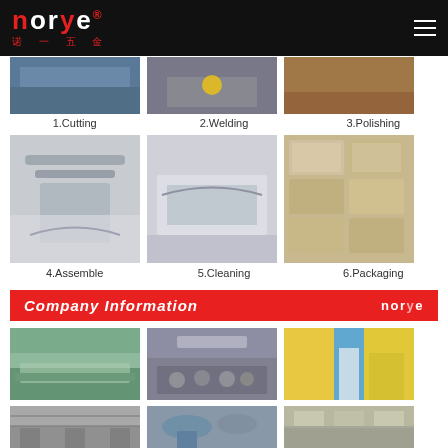[Figure (logo): Norye (诺一五金) company logo on black header bar with hamburger menu icon]
[Figure (photo): Row of 3 manufacturing process photos (partial tops): 1.Cutting, 2.Welding, 3.Polishing]
1.Cutting   2.Welding   3.Polishing
[Figure (photo): Row of 3 manufacturing process photos: 4.Assemble (gloved hands with metal bar), 5.Cleaning (gloved hands with metal frame), 6.Packaging (stacked cardboard boxes)]
4.Assemble   5.Cleaning   6.Packaging
Company Information
[Figure (photo): Row of 3 company photos: aerial factory view, team meeting/group photo with Norye banner, exterior building with yellow/blue facade]
[Figure (photo): Row of 3 facility interior photos (partially visible at bottom): factory floor, pipe/equipment area, showroom/exhibition]